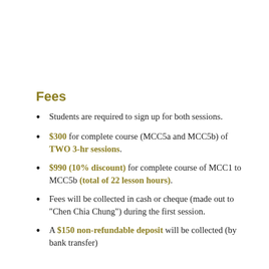Fees
Students are required to sign up for both sessions.
$300 for complete course (MCC5a and MCC5b) of TWO 3-hr sessions.
$990 (10% discount) for complete course of MCC1 to MCC5b (total of 22 lesson hours).
Fees will be collected in cash or cheque (made out to "Chen Chia Chung") during the first session.
A $150 non-refundable deposit will be collected (by bank transfer)